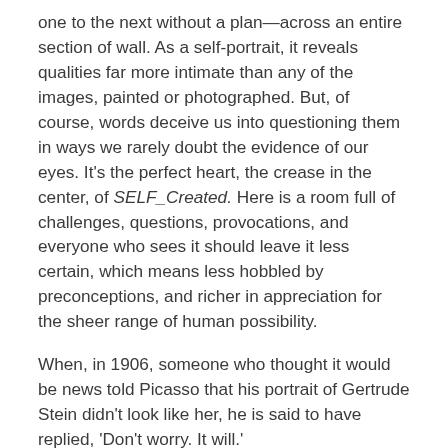one to the next without a plan—across an entire section of wall. As a self-portrait, it reveals qualities far more intimate than any of the images, painted or photographed. But, of course, words deceive us into questioning them in ways we rarely doubt the evidence of our eyes. It's the perfect heart, the crease in the center, of SELF_Created. Here is a room full of challenges, questions, provocations, and everyone who sees it should leave it less certain, which means less hobbled by preconceptions, and richer in appreciation for the sheer range of human possibility.
When, in 1906, someone who thought it would be news told Picasso that his portrait of Gertrude Stein didn't look like her, he is said to have replied, 'Don't worry. It will.'